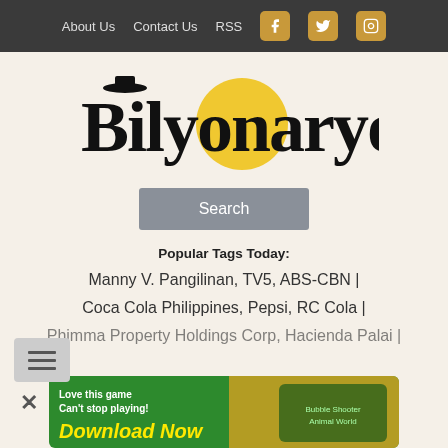About Us  Contact Us  RSS
[Figure (logo): Bilyonaryo logo with top hat icon and yellow circle behind the 'o']
Search
Popular Tags Today:
Manny V. Pangilinan, TV5, ABS-CBN | Coca Cola Philippines, Pepsi, RC Cola | Phimma Property Holdings Corp, Hacienda Palai |
[Figure (illustration): Ad banner: Love this game Can't stop playing! Download Now – Bubble Shooter Animal World]